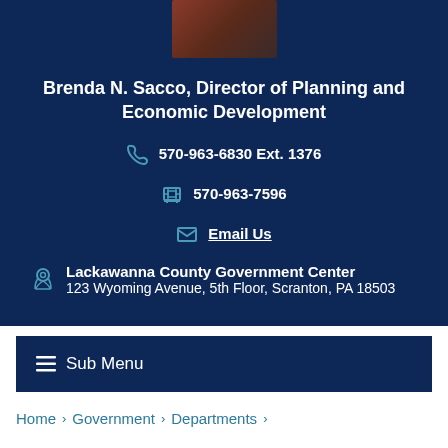[Figure (photo): Partial photo of a person with reddish-brown hair against a dark background]
Brenda N. Sacco, Director of Planning and Economic Development
570-963-6830 Ext. 1376
570-963-7596
Email Us
Lackawanna County Government Center
123 Wyoming Avenue, 5th Floor, Scranton, PA 18503
≡ Sub Menu
Home › Government › Departments ›